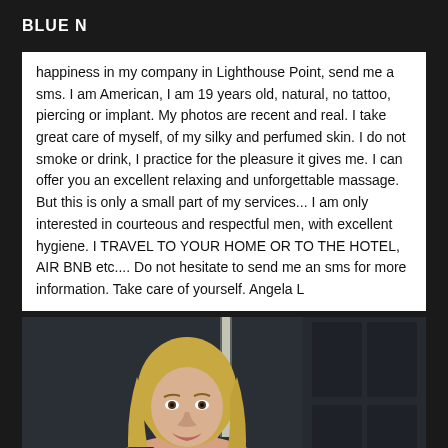BLUE N
happiness in my company in Lighthouse Point, send me a sms. I am American, I am 19 years old, natural, no tattoo, piercing or implant. My photos are recent and real. I take great care of myself, of my silky and perfumed skin. I do not smoke or drink, I practice for the pleasure it gives me. I can offer you an excellent relaxing and unforgettable massage. But this is only a small part of my services... I am only interested in courteous and respectful men, with excellent hygiene. I TRAVEL TO YOUR HOME OR TO THE HOTEL, AIR BNB etc.... Do not hesitate to send me an sms for more information. Take care of yourself. Angela L
[Figure (photo): Photo of a young blonde woman with long hair, holding a phone, shot indoors with dark background and lighting strips visible]